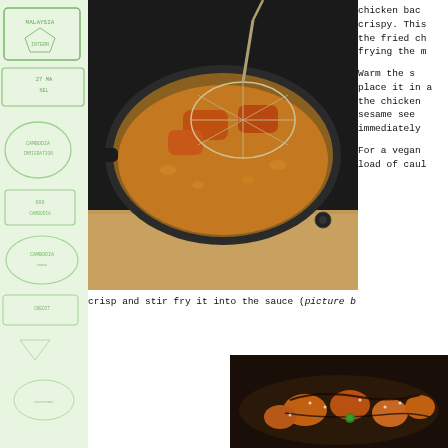[Figure (photo): Photo of fried chicken pieces being lifted out of a frying pan with bubbling hot oil, using a wire spider/skimmer, on a black induction stovetop with a wooden cutting board visible below.]
chicken back crispy. This the fried ch frying the m
Warm the place it in a the chicken sesame see immediately
For a vegan load of caul
crisp and stir fry it into the sauce (picture b
[Figure (photo): Photo of vegan cauliflower dish coated in dark sauce with sesame seeds and green onion, served on a dark plate.]